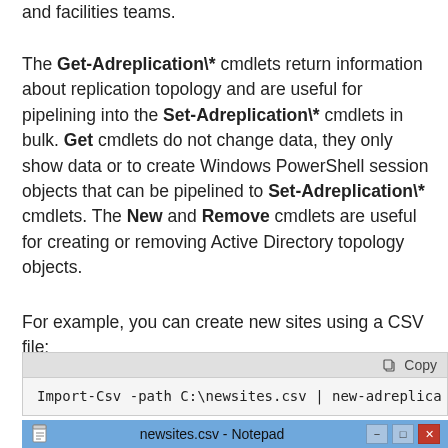and facilities teams.
The Get-Adreplication\* cmdlets return information about replication topology and are useful for pipelining into the Set-Adreplication\* cmdlets in bulk. Get cmdlets do not change data, they only show data or to create Windows PowerShell session objects that can be pipelined to Set-Adreplication\* cmdlets. The New and Remove cmdlets are useful for creating or removing Active Directory topology objects.
For example, you can create new sites using a CSV file:
[Figure (screenshot): Code block showing: Import-Csv -path C:\newsites.csv | new-adreplica (truncated)]
[Figure (screenshot): Notepad window title bar showing 'newsites.csv - Notepad' with minimize, maximize, and close buttons]